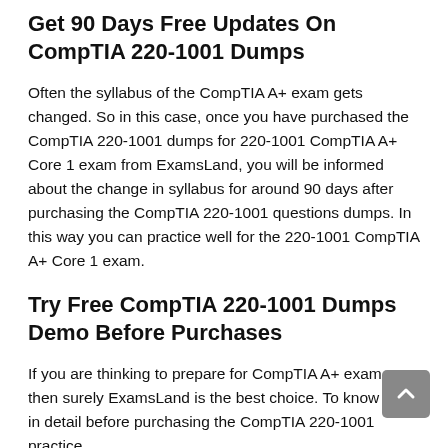Get 90 Days Free Updates On CompTIA 220-1001 Dumps
Often the syllabus of the CompTIA A+ exam gets changed. So in this case, once you have purchased the CompTIA 220-1001 dumps for 220-1001 CompTIA A+ Core 1 exam from ExamsLand, you will be informed about the change in syllabus for around 90 days after purchasing the CompTIA 220-1001 questions dumps. In this way you can practice well for the 220-1001 CompTIA A+ Core 1 exam.
Try Free CompTIA 220-1001 Dumps Demo Before Purchases
If you are thinking to prepare for CompTIA A+ exam, then surely ExamsLand is the best choice. To know more in detail before purchasing the CompTIA 220-1001 practice